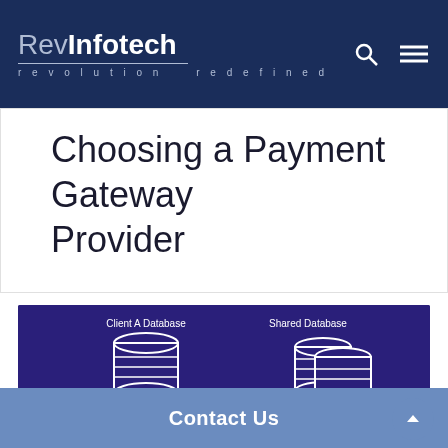RevInfotech — revolution redefined
Choosing a Payment Gateway Provider
[Figure (infographic): Dark blue infographic showing database architecture with 'Client A Database' (single cylinder icon on a stand) on the left and 'Shared Database' (two stacked cylinder icons) on the right, with a cyan cloud with gear icon at the bottom center, representing a payment gateway database setup.]
Contact Us